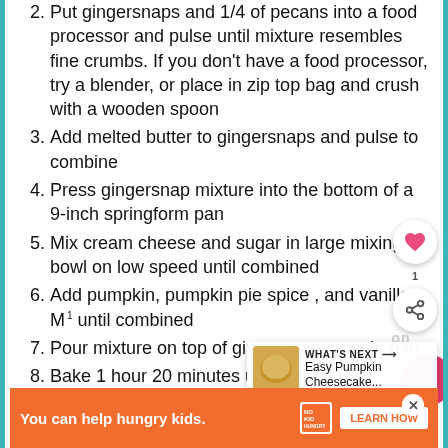2. Put gingersnaps and 1/4 of pecans into a food processor and pulse until mixture resembles fine crumbs. If you don't have a food processor, try a blender, or place in zip top bag and crush with a wooden spoon
3. Add melted butter to gingersnaps and pulse to combine
4. Press gingersnap mixture into the bottom of a 9-inch springform pan
5. Mix cream cheese and sugar in large mixing bowl on low speed until combined
6. Add pumpkin, pumpkin pie spice , and vanilla. Mix until combined
7. Pour mixture on top of gingersnap crust in pan
8. Bake 1 hour 20 minutes until center is set. Cool cheesecake on counter, then refrigerate for hours